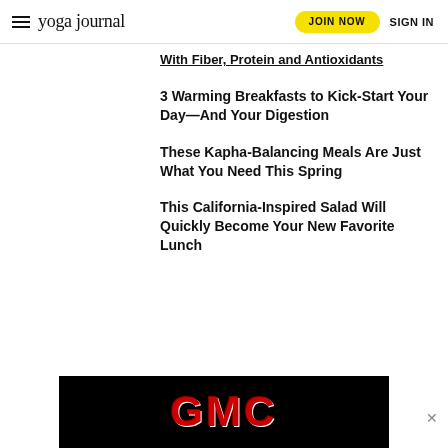yoga journal | JOIN NOW | SIGN IN
With Fiber, Protein and Antioxidants
3 Warming Breakfasts to Kick-Start Your Day—And Your Digestion
These Kapha-Balancing Meals Are Just What You Need This Spring
This California-Inspired Salad Will Quickly Become Your New Favorite Lunch
[Figure (screenshot): GMC advertisement banner with red GMC logo on black background]